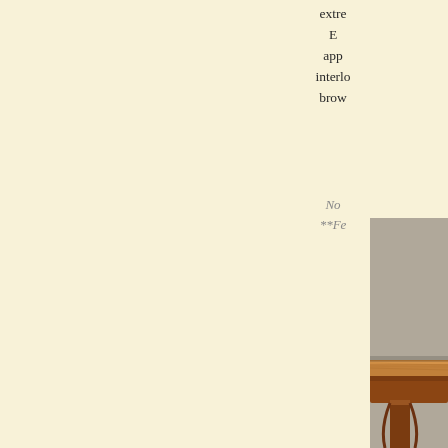extre E app interlo brow
No **Fe
[Figure (photo): Close-up photograph of a polished wooden furniture piece (likely a table) with rich warm brown tones, showing the edge and surface detail against a grey background.]